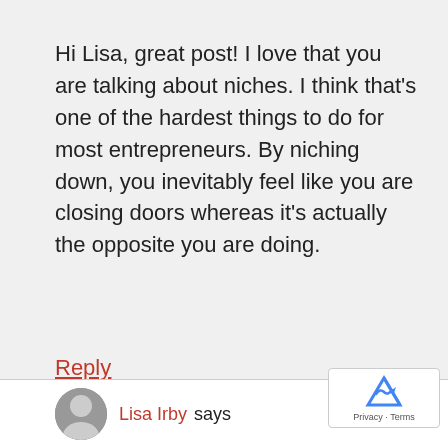Hi Lisa, great post! I love that you are talking about niches. I think that's one of the hardest things to do for most entrepreneurs. By niching down, you inevitably feel like you are closing doors whereas it's actually the opposite you are doing.
Reply
Lisa Irby says